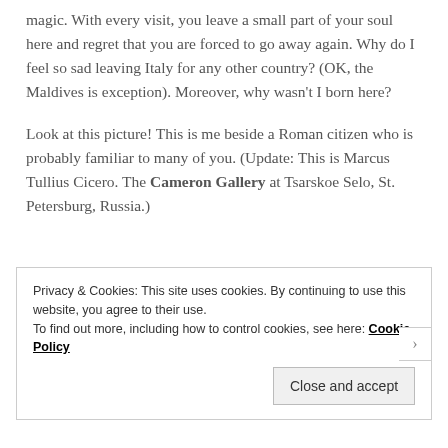magic. With every visit, you leave a small part of your soul here and regret that you are forced to go away again. Why do I feel so sad leaving Italy for any other country? (OK, the Maldives is exception). Moreover, why wasn't I born here?
Look at this picture! This is me beside a Roman citizen who is probably familiar to many of you. (Update: This is Marcus Tullius Cicero. The Cameron Gallery at Tsarskoe Selo, St. Petersburg, Russia.)
Privacy & Cookies: This site uses cookies. By continuing to use this website, you agree to their use. To find out more, including how to control cookies, see here: Cookie Policy